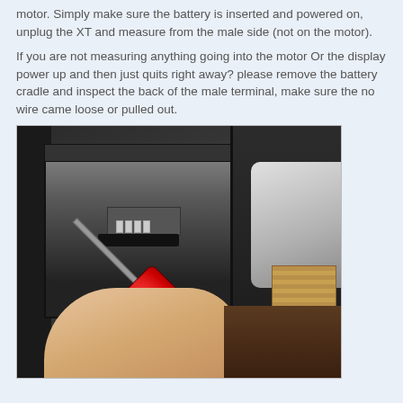motor. Simply make sure the battery is inserted and powered on, unplug the XT and measure from the male side (not on the motor).
If you are not measuring anything going into the motor Or the display power up and then just quits right away? please remove the battery cradle and inspect the back of the male terminal, make sure the no wire came loose or pulled out.
[Figure (photo): Photo showing a hand holding a red screwdriver probing inside a black battery cradle/box, with a white component and wooden block visible on the right side]